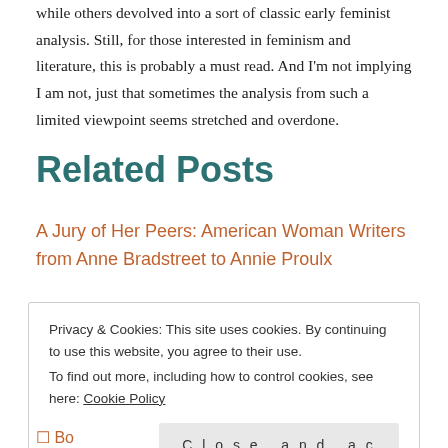while others devolved into a sort of classic early feminist analysis. Still, for those interested in feminism and literature, this is probably a must read. And I'm not implying I am not, just that sometimes the analysis from such a limited viewpoint seems stretched and overdone.
Related Posts
A Jury of Her Peers: American Woman Writers from Anne Bradstreet to Annie Proulx
Privacy & Cookies: This site uses cookies. By continuing to use this website, you agree to their use. To find out more, including how to control cookies, see here: Cookie Policy